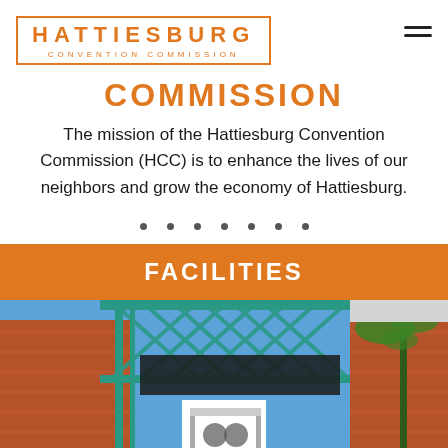[Figure (logo): Hattiesburg Convention Commission logo with orange border box, bold orange HATTIESBURG text and CONVENTION COMMISSION subtitle]
COMMISSION
The mission of the Hattiesburg Convention Commission (HCC) is to enhance the lives of our neighbors and grow the economy of Hattiesburg.
FACILITIES
[Figure (photo): Photo of a convention center building exterior with teal/green metal framework, brick walls, and a white logo sign. Blue sky and palm tree visible.]